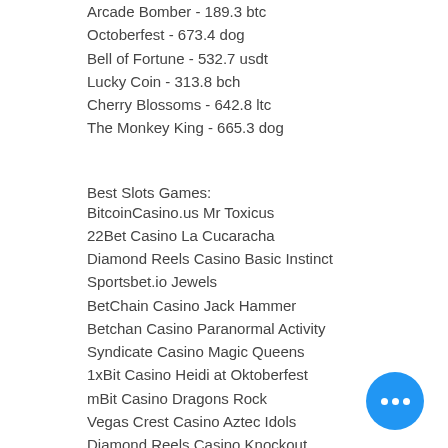Arcade Bomber - 189.3 btc
Octoberfest - 673.4 dog
Bell of Fortune - 532.7 usdt
Lucky Coin - 313.8 bch
Cherry Blossoms - 642.8 ltc
The Monkey King - 665.3 dog
Best Slots Games:
BitcoinCasino.us Mr Toxicus
22Bet Casino La Cucaracha
Diamond Reels Casino Basic Instinct
Sportsbet.io Jewels
BetChain Casino Jack Hammer
Betchan Casino Paranormal Activity
Syndicate Casino Magic Queens
1xBit Casino Heidi at Oktoberfest
mBit Casino Dragons Rock
Vegas Crest Casino Aztec Idols
Diamond Reels Casino Knockout
Bitcasino.io Desert Oasis
1xSlots Casino Safari Sam